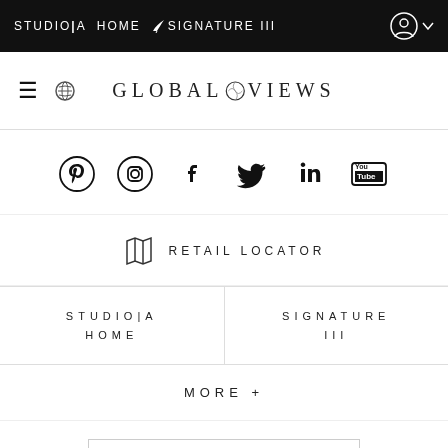STUDIO|A HOME   SIGNATURE III
[Figure (logo): Global Views logo with globe icon in center of text]
[Figure (infographic): Social media icons row: Pinterest, Instagram, Facebook, Twitter, LinkedIn, YouTube]
RETAIL LOCATOR
STUDIO|A HOME
SIGNATURE III
MORE +
[Figure (screenshot): Partial white box at bottom of page]